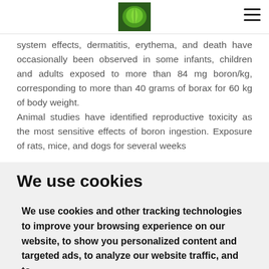[Logo: green leaf icon] [hamburger menu]
system effects, dermatitis, erythema, and death have occasionally been observed in some infants, children and adults exposed to more than 84 mg boron/kg, corresponding to more than 40 grams of borax for 60 kg of body weight.
Animal studies have identified reproductive toxicity as the most sensitive effects of boron ingestion. Exposure of rats, mice, and dogs for several weeks
We use cookies
We use cookies and other tracking technologies to improve your browsing experience on our website, to show you personalized content and targeted ads, to analyze our website traffic, and to